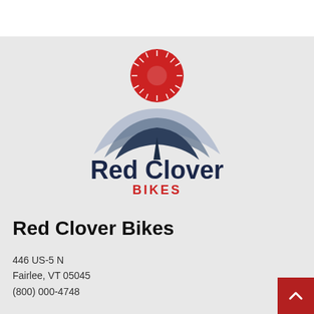[Figure (logo): Red Clover Bikes logo: stylized flower/clover with red circle at top emitting white rays, three layered dark blue-grey leaf/petal shapes below, text 'Red Clover' in dark navy bold, 'BIKES' in red bold capitals]
Red Clover Bikes
446 US-5 N
Fairlee, VT 05045
(800) 000-4748